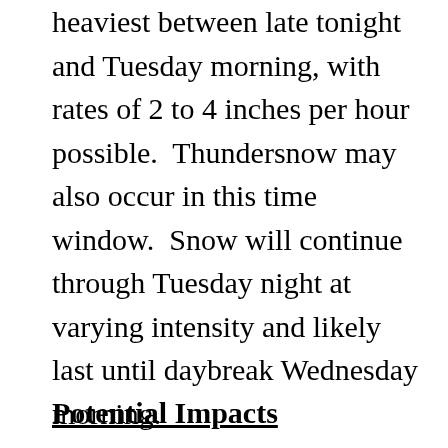heaviest between late tonight and Tuesday morning, with rates of 2 to 4 inches per hour possible.  Thundersnow may also occur in this time window.  Snow will continue through Tuesday night at varying intensity and likely last until daybreak Wednesday morning.
Potential Impacts